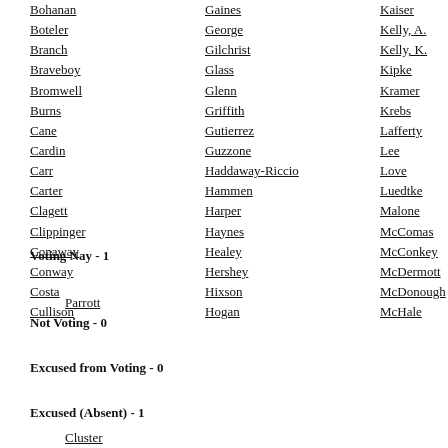Bohanan
Gaines
Kaiser
Norm
Boteler
George
Kelly, A.
O'Do
Branch
Gilchrist
Kelly, K.
Oaks
Braveboy
Glass
Kipke
Olsze
Bromwell
Glenn
Kramer
Otto
Burns
Griffith
Krebs
Pena-
Cane
Gutierrez
Lafferty
Pende
Cardin
Guzzone
Lee
Proct
Carr
Haddaway-Riccio
Love
Ready
Carter
Hammen
Luedtke
Rezn
Clagett
Harper
Malone
Robi
Clippinger
Haynes
McComas
Robin
Conaway
Healey
McConkey
Rose
Conway
Hershey
McDermott
Rudo
Costa
Hixson
McDonough
Schu
Cullison
Hogan
McHale
Schu
Voting Nay - 1
Parrott
Not Voting - 0
Excused from Voting - 0
Excused (Absent) - 1
Cluster